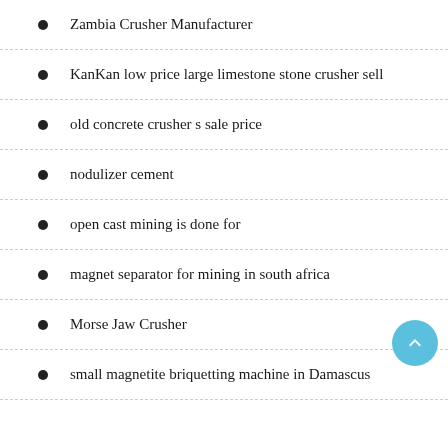Zambia Crusher Manufacturer
KanKan low price large limestone stone crusher sell
old concrete crusher s sale price
nodulizer cement
open cast mining is done for
magnet separator for mining in south africa
Morse Jaw Crusher
small magnetite briquetting machine in Damascus